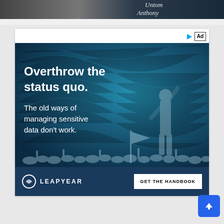[Figure (photo): Top portion of a webpage showing a partial image with a dark blue background and cursive white text reading 'Untom Anthony']
[Figure (infographic): Advertisement for Leapyear featuring dark teal/blue background with crowd silhouettes and a raised-fist figure. Bold white text reads 'Overthrow the status quo.' and 'The old ways of managing sensitive data don't work.' Footer bar shows Leapyear logo and 'GET THE HANDBOOK' button. 'Ad' badge in top right corner.]